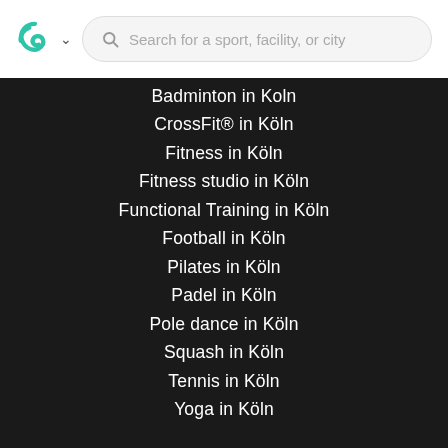Search for a sport, facility, or city
Badminton in Koln
CrossFit® in Köln
Fitness in Köln
Fitness studio in Köln
Functional Training in Köln
Football in Köln
Pilates in Köln
Padel in Köln
Pole dance in Köln
Squash in Köln
Tennis in Köln
Yoga in Köln